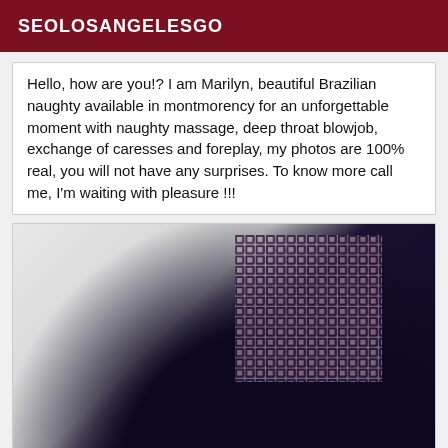SEOLOSANGELESGO
Hello, how are you!? I am Marilyn, beautiful Brazilian naughty available in montmorency for an unforgettable moment with naughty massage, deep throat blowjob, exchange of caresses and foreplay, my photos are 100% real, you will not have any surprises. To know more call me, I'm waiting with pleasure !!!
[Figure (photo): Close-up photo of a person wearing dark fishnet stockings and dark clothing, partially visible against a light wall background]